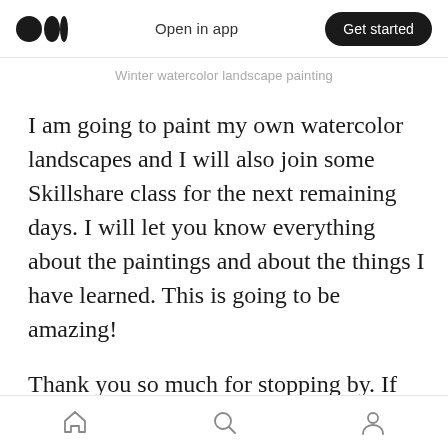Medium logo | Open in app | Get started
Winter watercolor landscape painting
I am going to paint my own watercolor landscapes and I will also join some Skillshare class for the next remaining days. I will let you know everything about the paintings and about the things I have learned. This is going to be amazing!
Thank you so much for stopping by. If you are interested in watercolor painting, I am teaching how to paint with watercolors and I call it an art
Home | Search | Profile